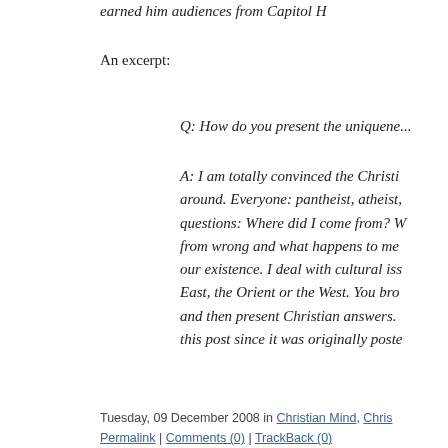earned him audiences from Capitol H
An excerpt:
Q: How do you present the uniquene...
A: I am totally convinced the Christi... around. Everyone: pantheist, atheist, questions: Where did I come from? W from wrong and what happens to me our existence. I deal with cultural iss East, the Orient or the West. You bro and then present Christian answers. this post since it was originally poste
Tuesday, 09 December 2008 in Christian Mind, Chris Permalink | Comments (0) | TrackBack (0)
THOMAS SOWELL - THE MEANING O... AMERICANS
I had toyed with giving this post the title, "A Obama administration) fail to take hatred aga doubt that would have served equally well as chose. Thomas Sowell has written a serious should be required reading. One small eve